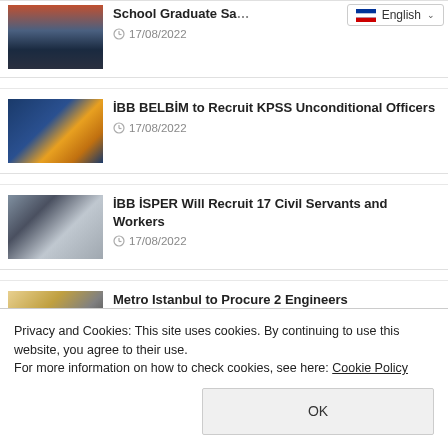[Figure (photo): Ship at sea at dusk/sunset]
School Graduate Sa…
17/08/2022
[Figure (photo): Business/office colorful items]
İBB BELBİM to Recruit KPSS Unconditional Officers
17/08/2022
[Figure (photo): Person working at desk with laptop]
İBB İSPER Will Recruit 17 Civil Servants and Workers
17/08/2022
[Figure (photo): Metro/engineering related photo]
Metro Istanbul to Procure 2 Engineers
Privacy and Cookies: This site uses cookies. By continuing to use this website, you agree to their use.
For more information on how to check cookies, see here: Cookie Policy
OK